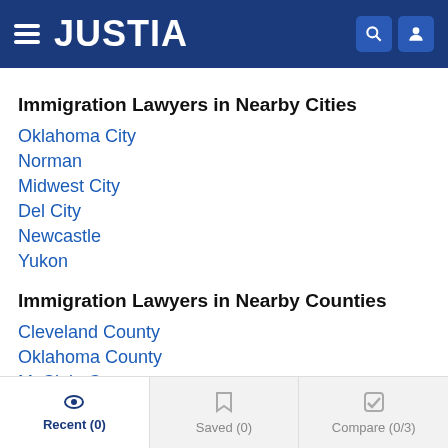JUSTIA
Immigration Lawyers in Nearby Cities
Oklahoma City
Norman
Midwest City
Del City
Newcastle
Yukon
Immigration Lawyers in Nearby Counties
Cleveland County
Oklahoma County
McClain County
Recent (0)  Saved (0)  Compare (0/3)